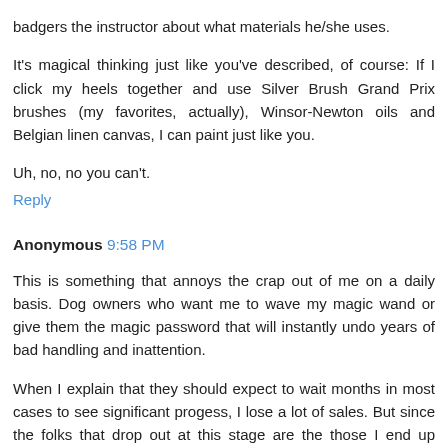badgers the instructor about what materials he/she uses.
It's magical thinking just like you've described, of course: If I click my heels together and use Silver Brush Grand Prix brushes (my favorites, actually), Winsor-Newton oils and Belgian linen canvas, I can paint just like you.
Uh, no, no you can't.
Reply
Anonymous 9:58 PM
This is something that annoys the crap out of me on a daily basis. Dog owners who want me to wave my magic wand or give them the magic password that will instantly undo years of bad handling and inattention.
When I explain that they should expect to wait months in most cases to see significant progess, I lose a lot of sales. But since the folks that drop out at this stage are the those I end up wanting to quite literally beat sense into, it's